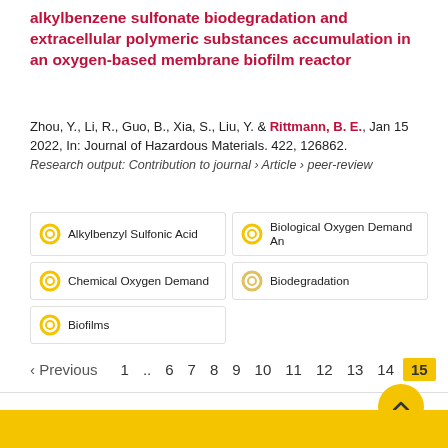alkylbenzene sulfonate biodegradation and extracellular polymeric substances accumulation in an oxygen-based membrane biofilm reactor
Zhou, Y., Li, R., Guo, B., Xia, S., Liu, Y. & Rittmann, B. E., Jan 15 2022, In: Journal of Hazardous Materials. 422, 126862.
Research output: Contribution to journal › Article › peer-review
Alkylbenzyl Sulfonic Acid
Biological Oxygen Demand An
Chemical Oxygen Demand
Biodegradation
Biofilms
‹ Previous   1 .. 6 7 8 9 10 11 12 13 14 15